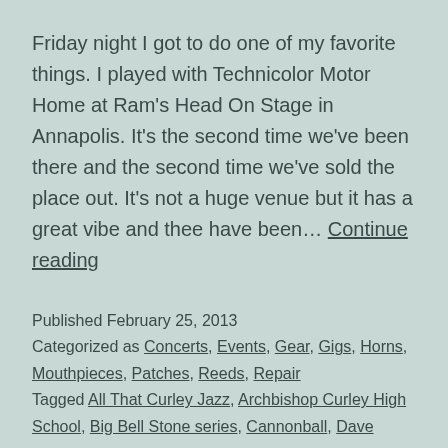Friday night I got to do one of my favorite things. I played with Technicolor Motor Home at Ram's Head On Stage in Annapolis. It's the second time we've been there and the second time we've sold the place out. It's not a huge venue but it has a great vibe and thee have been… Continue reading
Published February 25, 2013
Categorized as Concerts, Events, Gear, Gigs, Horns, Mouthpieces, Patches, Reeds, Repair
Tagged All That Curley Jazz, Archbishop Curley High School, Big Bell Stone series, Cannonball, Dave